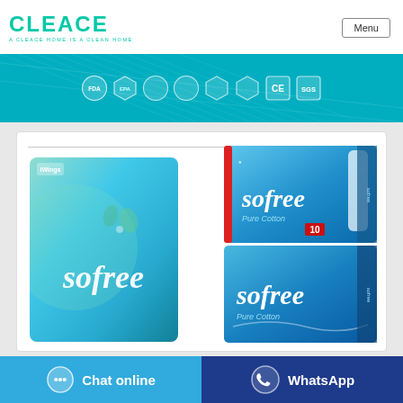[Figure (logo): CLEACE logo in teal/green with tagline A CLEACE HOME IS A CLEAN HOME]
Menu
[Figure (infographic): Teal banner with certification badges: FDA, EPA, and several other regulatory/quality marks including CE and SGS hexagonal badges]
[Figure (photo): Two sofree brand personal hygiene product packages - a green/teal box on the left and two blue Pure Cotton boxes stacked on the right]
[Figure (infographic): Chat online button with chat bubble icon on cyan/blue background]
[Figure (infographic): WhatsApp button with WhatsApp icon on dark blue background]